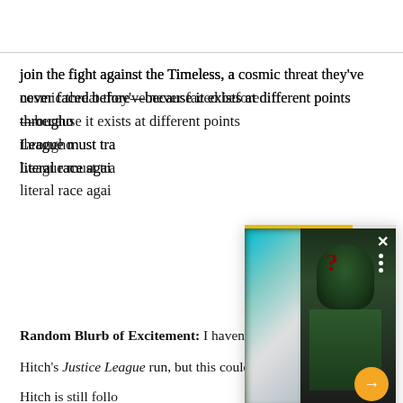join the fight against the Timeless, a cosmic threat they've never faced before—because it exists at different points throughout [time]. [The Justice] League must tra[vel through time in a] literal race agai[nst it].
[Figure (photo): A popup overlay showing a comic book cover image of a mysterious figure in a green suit with a question mark on their head/face, against a dark background. There is a yellow progress bar at the top, a white X close button at top right, and a yellow circle arrow navigation button at the bottom right. The left portion of the popup shows a blurred teal/turquoise colored image.]
Art by Matt Rya[n]
Cover by Matt R[yan]
Variant cover by[...]
Written by Brya[n...]
Random Blurb of Excitement: I haven't been a fan of Hitch's Justice League run, but this could be different. Hitch is still following a proximity formula, ensuring the t[ext is cut off]